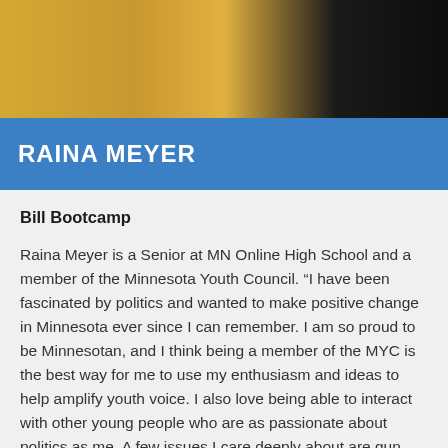[Figure (photo): Top portion of a person photo, showing clothing in gold/yellow and dark tones, cropped at torso level]
RAINA MEYER
Bill Bootcamp
Raina Meyer is a Senior at MN Online High School and a member of the Minnesota Youth Council. “I have been fascinated by politics and wanted to make positive change in Minnesota ever since I can remember. I am so proud to be Minnesotan, and I think being a member of the MYC is the best way for me to use my enthusiasm and ideas to help amplify youth voice. I also love being able to interact with other young people who are as passionate about politics as me. A few issues I care deeply about are gun violence prevention,